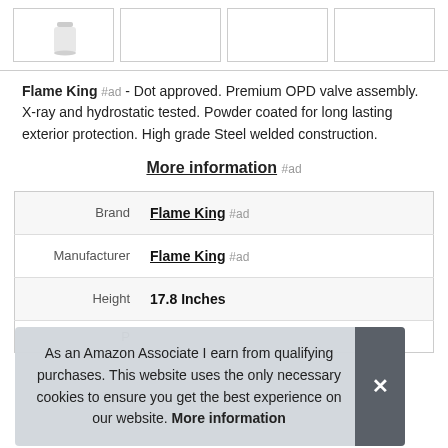[Figure (photo): Four product thumbnail images in a row; leftmost shows a white propane/gas cylinder, other three are empty/blank cells]
Flame King #ad - Dot approved. Premium OPD valve assembly. X-ray and hydrostatic tested. Powder coated for long lasting exterior protection. High grade Steel welded construction.
More information #ad
| Attribute | Value |
| --- | --- |
| Brand | Flame King #ad |
| Manufacturer | Flame King #ad |
| Height | 17.8 Inches |
| P |  |
As an Amazon Associate I earn from qualifying purchases. This website uses the only necessary cookies to ensure you get the best experience on our website. More information